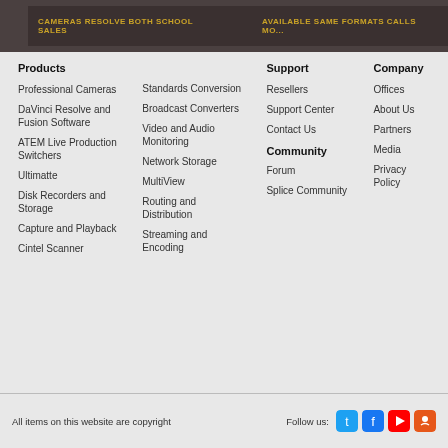Products
Professional Cameras
DaVinci Resolve and Fusion Software
ATEM Live Production Switchers
Ultimatte
Disk Recorders and Storage
Capture and Playback
Cintel Scanner
Standards Conversion
Broadcast Converters
Video and Audio Monitoring
Network Storage
MultiView
Routing and Distribution
Streaming and Encoding
Support
Resellers
Support Center
Contact Us
Community
Forum
Splice Community
Company
Offices
About Us
Partners
Media
Privacy Policy
All items on this website are copyright
Follow us: